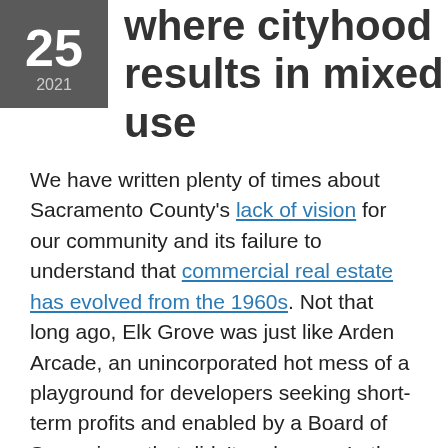25 2021 where cityhood results in mixed use
We have written plenty of times about Sacramento County's lack of vision for our community and its failure to understand that commercial real estate has evolved from the 1960s. Not that long ago, Elk Grove was just like Arden Arcade, an unincorporated hot mess of a playground for developers seeking short-term profits and enabled by a Board of Supervisors that didn't realy care. In the intervening years since it became a city, Elk Grove has been on a mission to fix the problems caused by the County's years of inattentiveness. Elk Grove is now seeking yet another success story with its approach to a 20-acre site on Elk Grove Blvd, west of the Auto Mall. According to the Business Journal, it's a mixed use